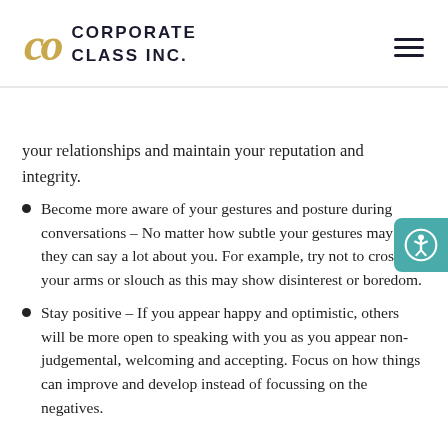[Figure (logo): Corporate Class Inc. logo with golden CC lettermark and dark text]
your relationships and maintain your reputation and integrity.
Become more aware of your gestures and posture during conversations – No matter how subtle your gestures may be, they can say a lot about you. For example, try not to cross your arms or slouch as this may show disinterest or boredom.
Stay positive – If you appear happy and optimistic, others will be more open to speaking with you as you appear non-judgemental, welcoming and accepting. Focus on how things can improve and develop instead of focussing on the negatives.